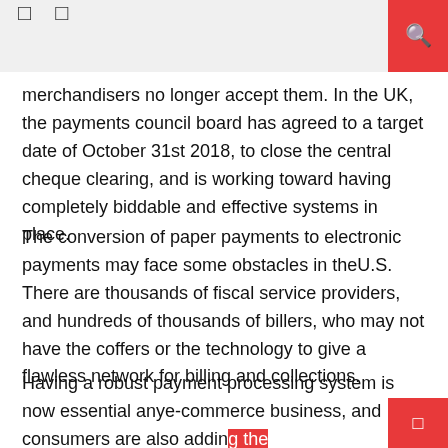merchandisers no longer accept them. In the UK, the payments council board has agreed to a target date of October 31st 2018, to close the central cheque clearing, and is working toward having completely biddable and effective systems in place.
The conversion of paper payments to electronic payments may face some obstacles in theU.S. There are thousands of fiscal service providers, and hundreds of thousands of billers, who may not have the coffers or the technology to give a flawless network for billing and collections.
Having a robust payment processing system is now essential anye-commerce business, and consumers are also adding the use of mobile bias for banking and retail deals. It’s also getting